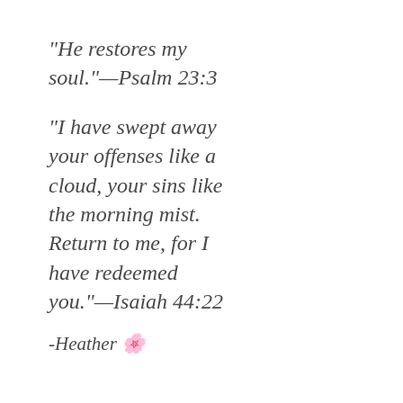“He restores my soul.”—Psalm 23:3
“I have swept away your offenses like a cloud, your sins like the morning mist. Return to me, for I have redeemed you.”—Isaiah 44:22
-Heather 🌸